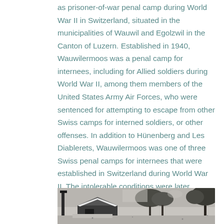as prisoner-of-war penal camp during World War II in Switzerland, situated in the municipalities of Wauwil and Egolzwil in the Canton of Luzern. Established in 1940, Wauwilermoos was a penal camp for internees, including for Allied soldiers during World War II, among them members of the United States Army Air Forces, who were sentenced for attempting to escape from other Swiss camps for interned soldiers, or other offenses. In addition to Hünenberg and Les Diablerets, Wauwilermoos was one of three Swiss penal camps for internees that were established in Switzerland during World War II. The intolerable conditions were later described by numerous former inmates, by various contemporary reports and studies.
[Figure (photo): Black and white historical photograph showing buildings and trees, likely the Wauwilermoos camp]